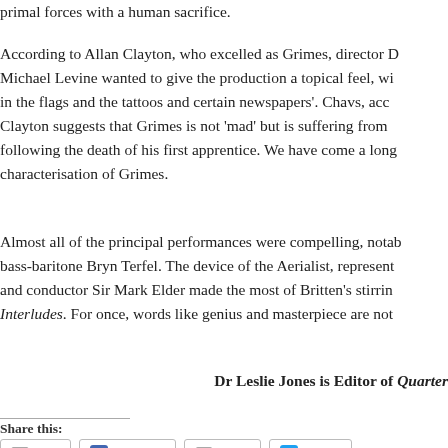primal forces with a human sacrifice.
According to Allan Clayton, who excelled as Grimes, director David Michael Levine wanted to give the production a topical feel, with 'politics in the flags and the tattoos and certain newspapers'. Chavs, according to Clayton suggests that Grimes is not 'mad' but is suffering from PTSD following the death of his first apprentice. We have come a long way in the characterisation of Grimes.
Almost all of the principal performances were compelling, notably bass-baritone Bryn Terfel. The device of the Aerialist, represented… and conductor Sir Mark Elder made the most of Britten's stirring Sea Interludes. For once, words like genius and masterpiece are not…
Dr Leslie Jones is Editor of Quarter…
Share this:
Print
Facebook
Email
Twitter